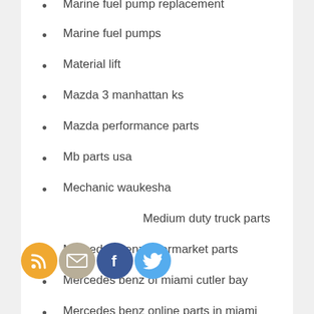Marine fuel pump replacement
Marine fuel pumps
Material lift
Mazda 3 manhattan ks
Mazda performance parts
Mb parts usa
Mechanic waukesha
Medium duty truck parts
Mercedes benz aftermarket parts
Mercedes benz of miami cutler bay
Mercedes benz online parts in miami
Mercedes benz part